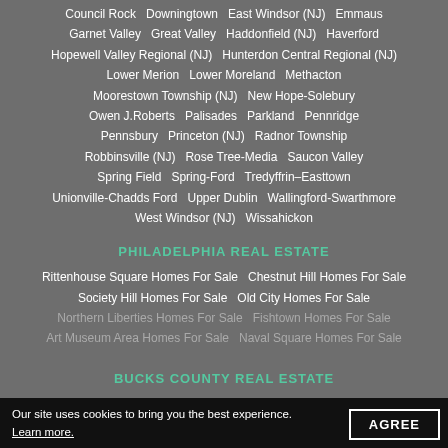Council Rock · Downingtown · East Windsor (NJ) · Emmaus · Garnet Valley · Great Valley · Haddonfield (NJ) · Haverford · Hopewell Valley Regional (NJ) · Hunterdon Central Regional (NJ) · Lower Merion · Lower Moreland · Methacton · Moorestown Township (NJ) · New Hope-Solebury · Owen J.Roberts · Palisades · Parkland · Pennridge · Pennsbury · Princeton (NJ) · Radnor Township · Robbinsville (NJ) · Rose Tree-Media · Saucon Valley · Spring Field · Spring-Ford · Tredyffrin–Easttown · Unionville-Chadds Ford · Upper Dublin · Wallingford-Swarthmore · West Windsor (NJ) · Wissahickon
PHILADELPHIA REAL ESTATE
Rittenhouse Square Homes For Sale · Chestnut Hill Homes For Sale · Society Hill Homes For Sale · Old City Homes For Sale · Northern Liberties Homes For Sale · Fishtown Homes For Sale · Art Museum Area Homes For Sale · Naval Square Homes For Sale
BUCKS COUNTY REAL ESTATE
Our site uses cookies to bring you the best experience.
Learn more.